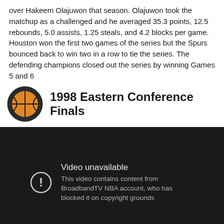over Hakeem Olajuwon that season. Olajuwon took the matchup as a challenged and he averaged 35.3 points, 12.5 rebounds, 5.0 assists, 1.25 steals, and 4.2 blocks per game. Houston won the first two games of the series but the Spurs bounced back to win two in a row to tie the series. The defending champions closed out the series by winning Games 5 and 6
1998 Eastern Conference Finals
[Figure (screenshot): YouTube video player showing 'Video unavailable - This video contains content from BroadbandTV NBA account, who has blocked it on copyright grounds' on a dark background]